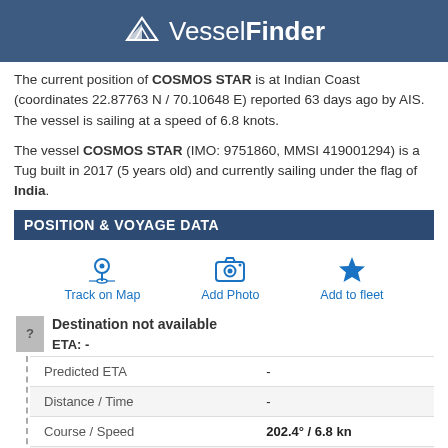[Figure (logo): VesselFinder logo with paper boat icon on dark blue banner]
The current position of COSMOS STAR is at Indian Coast (coordinates 22.87763 N / 70.10648 E) reported 63 days ago by AIS. The vessel is sailing at a speed of 6.8 knots.
The vessel COSMOS STAR (IMO: 9751860, MMSI 419001294) is a Tug built in 2017 (5 years old) and currently sailing under the flag of India.
POSITION & VOYAGE DATA
[Figure (infographic): Three action buttons: Track on Map (map pin icon), Add Photo (camera icon), Add to fleet (star icon)]
Destination not available
ETA: -
| Field | Value |
| --- | --- |
| Predicted ETA | - |
| Distance / Time | - |
| Course / Speed | 202.4° / 6.8 kn |
| Current draught | 5.0 m |
| Navigation Status |  |